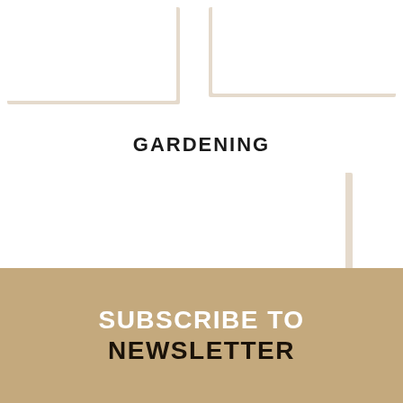[Figure (other): White card placeholder top-left, image area blank]
[Figure (other): White card placeholder top-right, image area blank]
GARDENING
[Figure (other): White card placeholder center, image area blank]
SUBSCRIBE TO NEWSLETTER